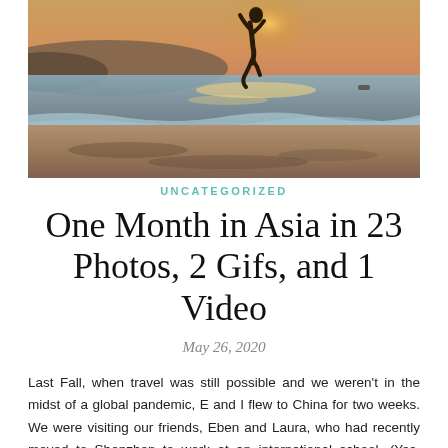[Figure (photo): Beach silhouette photo showing a person jumping on a sandy beach at sunset, with water and mountains in the background, warm golden-orange tones]
UNCATEGORIZED
One Month in Asia in 23 Photos, 2 Gifs, and 1 Video
May 26, 2020
Last Fall, when travel was still possible and we weren't in the midst of a global pandemic, E and I flew to China for two weeks. We were visiting our friends, Eben and Laura, who had recently moved to Shenzhen to work at an international school. (Yes, these are the same friends who were displaced by coronavirus and now kinda, sorta live in